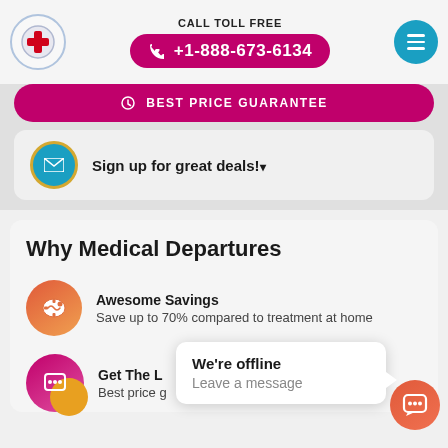CALL TOLL FREE +1-888-673-6134
BEST PRICE GUARANTEE
Sign up for great deals!
Why Medical Departures
Awesome Savings — Save up to 70% compared to treatment at home
Get The L... Best price g...
We're offline
Leave a message